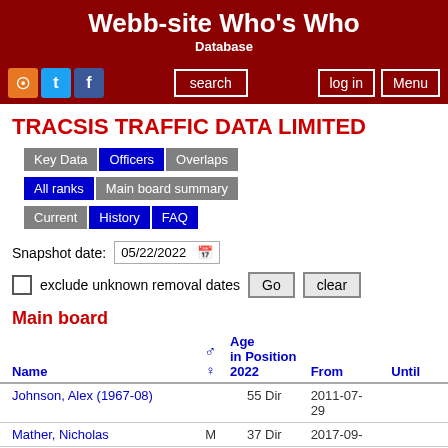Webb-site Who's Who
Database
TRACSIS TRAFFIC DATA LIMITED
Key Data | Officers | Overlaps | All ranks | Main board summary | Current | History | FAQ
Snapshot date: 05/22/2022
exclude unknown removal dates  Go  clear
Main board
| Name | ♂/♀ | Age in Position 2022 | From | Until |
| --- | --- | --- | --- | --- |
| Johnson, Alex (1967-08) |  | 55 Dir | 2011-07-29 |  |
| Mather, Nicholas | M | 37 Dir | 2017-09- |  |